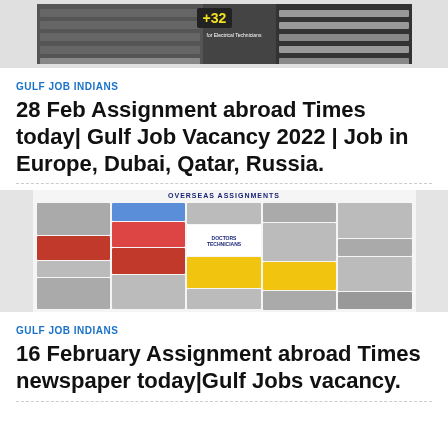[Figure (photo): Newspaper clipping showing job ads with +32 badge, partially visible]
GULF JOB INDIANS
28 Feb Assignment abroad Times today| Gulf Job Vacancy 2022 | Job in Europe, Dubai, Qatar, Russia.
[Figure (photo): Newspaper page showing Overseas Assignments classified ads with colorful job listings including Doctors/Technicians columns]
GULF JOB INDIANS
16 February Assignment abroad Times newspaper today|Gulf Jobs vacancy.